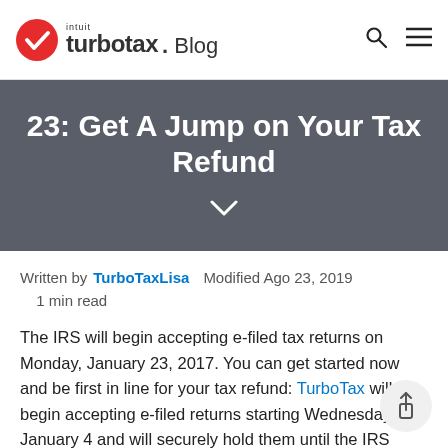intuit turbotax Blog
23: Get A Jump on Your Tax Refund
Written by TurboTaxLisa   Modified Ago 23, 2019   1 min read
The IRS will begin accepting e-filed tax returns on Monday, January 23, 2017. You can get started now and be first in line for your tax refund: TurboTax will begin accepting e-filed returns starting Wednesday, January 4 and will securely hold them until the IRS opens.